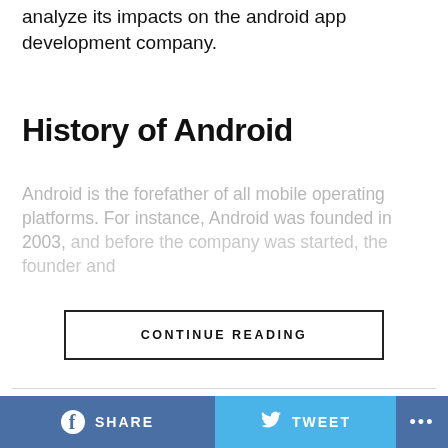analyze its impacts on the android app development company.
History of Android
Android is the forefather of all mobile operating platforms. For instance, Android was founded in 2003, and before the company was started, the founder and...
CONTINUE READING
LATEST   POPULAR
LIFESTYLE / 4 months ago
Where to Buy Platypus Shoes
SHARE   TWEET   ...